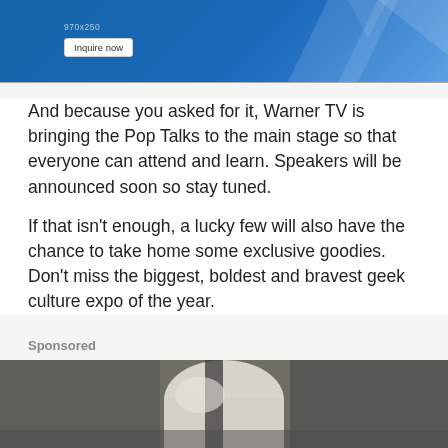[Figure (screenshot): Blue advertisement banner with geometric diamond shapes and an 'Inquire now' button]
And because you asked for it, Warner TV is bringing the Pop Talks to the main stage so that everyone can attend and learn. Speakers will be announced soon so stay tuned.
If that isn't enough, a lucky few will also have the chance to take home some exclusive goodies. Don't miss the biggest, boldest and bravest geek culture expo of the year.
Sponsored
[Figure (photo): Close-up photo of what appears to be a white/cream colored mechanical or automotive component, possibly a lamp or camera mount]